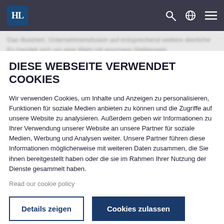HL logo and navigation icons
DIESE WEBSEITE VERWENDET COOKIES
Wir verwenden Cookies, um Inhalte und Anzeigen zu personalisieren, Funktionen für soziale Medien anbieten zu können und die Zugriffe auf unsere Website zu analysieren. Außerdem geben wir Informationen zu Ihrer Verwendung unserer Website an unsere Partner für soziale Medien, Werbung und Analysen weiter. Unsere Partner führen diese Informationen möglicherweise mit weiteren Daten zusammen, die Sie ihnen bereitgestellt haben oder die sie im Rahmen Ihrer Nutzung der Dienste gesammelt haben.
Read our cookie policy
Details zeigen | Cookies zulassen